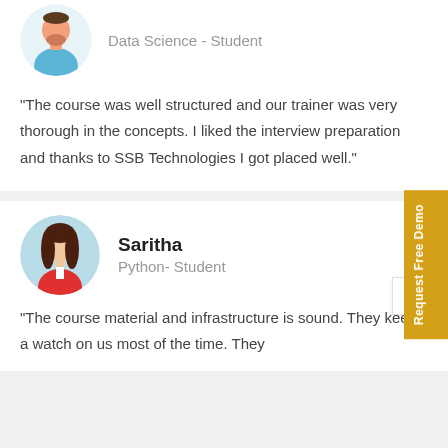[Figure (illustration): Circular avatar of a male student with beard, wearing a blue shirt, peach/orange skin tone, on white background]
Data Science - Student
"The course was well structured and our trainer was very thorough in the concepts. I liked the interview preparation and thanks to SSB Technologies I got placed well."
[Figure (illustration): Circular avatar of a female student with dark hair, wearing a red jacket, light blue circle background - Saritha]
Saritha
Python- Student
"The course material and infrastructure is sound. They keep a watch on us most of the time. They
Request Free Demo